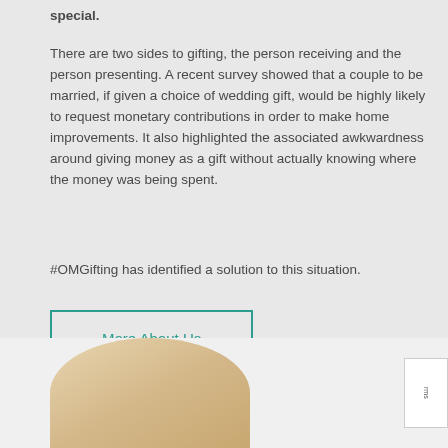special.
There are two sides to gifting, the person receiving and the person presenting. A recent survey showed that a couple to be married, if given a choice of wedding gift, would be highly likely to request monetary contributions in order to make home improvements. It also highlighted the associated awkwardness around giving money as a gift without actually knowing where the money was being spent.
#OMGifting has identified a solution to this situation.
More About Us
[Figure (photo): Partial view of a person, showing skin tones suggesting a head/shoulder area, cropped at bottom of page]